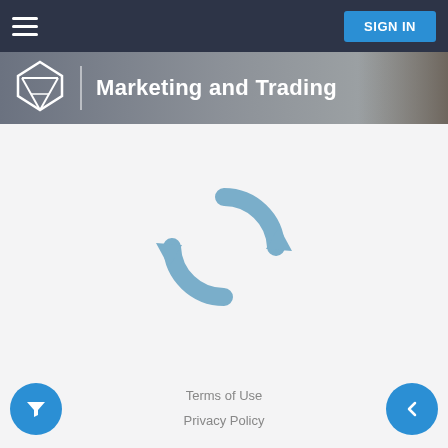SIGN IN
[Figure (logo): Marketing and Trading banner with logo and header text]
[Figure (illustration): Loading/refresh circular arrows icon in steel blue color, indicating page is loading content]
Terms of Use
Privacy Policy